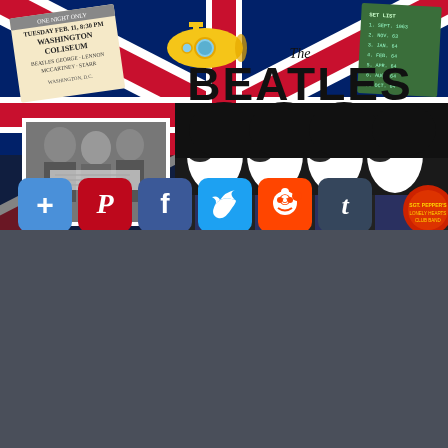[Figure (photo): Beatles themed collage with Union Jack background, concert ticket, yellow submarine, Beatles logo, black-and-white photo of band members, silhouette artwork, Sgt. Pepper drum, and social media sharing buttons (Google+, Pinterest, Facebook, Twitter, Reddit, Tumblr) at the bottom]
[Figure (screenshot): Dark grey background area below the main image, approximately lower half of page]